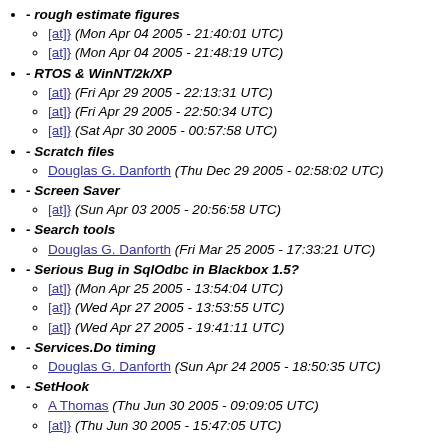- rough estimate figures
[at]} (Mon Apr 04 2005 - 21:40:01 UTC)
[at]} (Mon Apr 04 2005 - 21:48:19 UTC)
- RTOS & WinNT/2k/XP
[at]} (Fri Apr 29 2005 - 22:13:31 UTC)
[at]} (Fri Apr 29 2005 - 22:50:34 UTC)
[at]} (Sat Apr 30 2005 - 00:57:58 UTC)
- Scratch files
Douglas G. Danforth (Thu Dec 29 2005 - 02:58:02 UTC)
- Screen Saver
[at]} (Sun Apr 03 2005 - 20:56:58 UTC)
- Search tools
Douglas G. Danforth (Fri Mar 25 2005 - 17:33:21 UTC)
- Serious Bug in SqlOdbc in Blackbox 1.5?
[at]} (Mon Apr 25 2005 - 13:54:04 UTC)
[at]} (Wed Apr 27 2005 - 13:53:55 UTC)
[at]} (Wed Apr 27 2005 - 19:41:11 UTC)
- Services.Do timing
Douglas G. Danforth (Sun Apr 24 2005 - 18:50:35 UTC)
- SetHook
A Thomas (Thu Jun 30 2005 - 09:09:05 UTC)
[at]} (Thu Jun 30 2005 - 15:47:05 UTC)